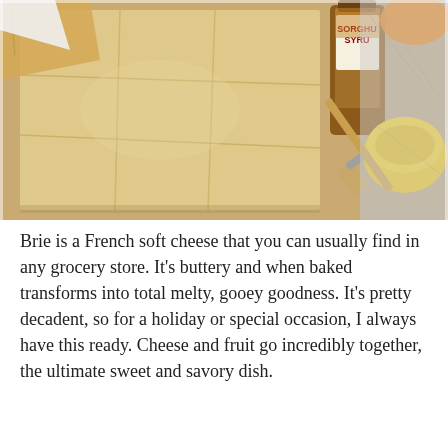[Figure (photo): Overhead photo showing sheets of puff pastry dough laid flat on a wooden surface, alongside a bottle of Sorghum Syrup, a yellow bowl, and a wooden-handled pastry brush resting in the bowl.]
Brie is a French soft cheese that you can usually find in any grocery store. It's buttery and when baked transforms into total melty, gooey goodness. It's pretty decadent, so for a holiday or special occasion, I always have this ready. Cheese and fruit go incredibly together, the ultimate sweet and savory dish.